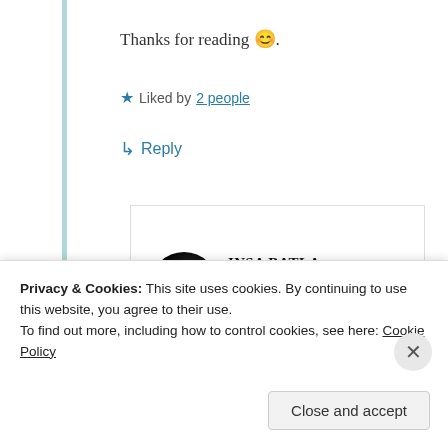Thanks for reading 😊.
★ Liked by 2 people
↳ Reply
INSA BATLA
June 18, 2020 at
8:04 pm
Privacy & Cookies: This site uses cookies. By continuing to use this website, you agree to their use.
To find out more, including how to control cookies, see here: Cookie Policy
Close and accept